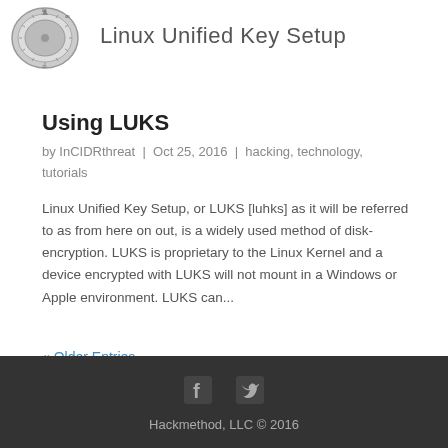[Figure (illustration): Circular combination lock dial, grayscale, partially visible at top left]
Linux Unified Key Setup
Using LUKS
by InCIDRthreat | Oct 25, 2016 | hacking, technology, tutorials
Linux Unified Key Setup, or LUKS [luhks] as it will be referred to as from here on out, is a widely used method of disk-encryption. LUKS is proprietary to the Linux Kernel and a device encrypted with LUKS will not mount in a Windows or Apple environment. LUKS can...
« Older Entries
Hackmethod, LLC © 2016